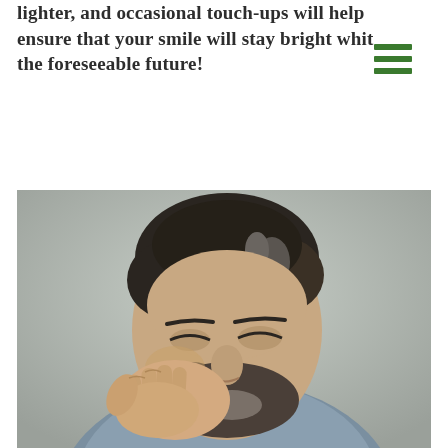lighter, and occasional touch-ups will help ensure that your smile will stay bright whit the foreseeable future!
[Figure (photo): A middle-aged man with dark curly hair and a beard holding his hand to his jaw/cheek in apparent dental pain, against a light grey background, wearing a blue-grey t-shirt.]